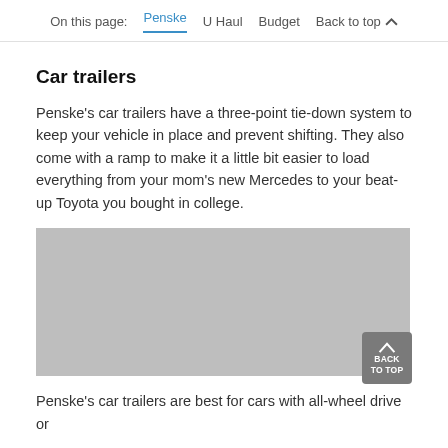On this page: Penske U Haul Budget Back to top
Car trailers
Penske's car trailers have a three-point tie-down system to keep your vehicle in place and prevent shifting. They also come with a ramp to make it a little bit easier to load everything from your mom's new Mercedes to your beat-up Toyota you bought in college.
[Figure (photo): Gray placeholder image for a car trailer photo]
Penske's car trailers are best for cars with all-wheel drive or